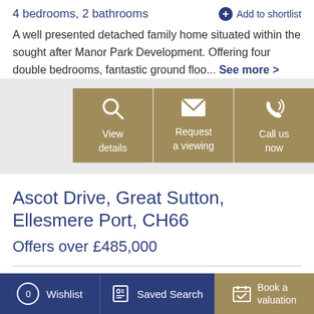4 bedrooms, 2 bathrooms
+ Add to shortlist
A well presented detached family home situated within the sought after Manor Park Development. Offering four double bedrooms, fantastic ground floo... See more >
[Figure (screenshot): Three action buttons: View details (magnifying glass icon), Request a viewing (envelope icon), Call us now (phone icon), all with gold/tan background]
Ascot Drive, Great Sutton, Ellesmere Port, CH66
Offers over £485,000
0 Wishlist | Saved Search | Book a valuation